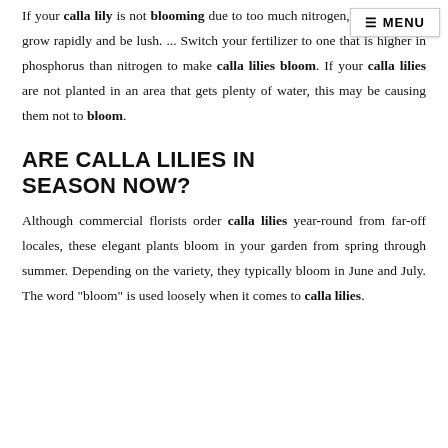If your calla lily is not blooming due to too much nitrogen, the plant will grow rapidly and be lush. ... Switch your fertilizer to one that is higher in phosphorus than nitrogen to make calla lilies bloom. If your calla lilies are not planted in an area that gets plenty of water, this may be causing them not to bloom.
ARE CALLA LILIES IN SEASON NOW?
Although commercial florists order calla lilies year-round from far-off locales, these elegant plants bloom in your garden from spring through summer. Depending on the variety, they typically bloom in June and July. The word "bloom" is used loosely when it comes to calla lilies.